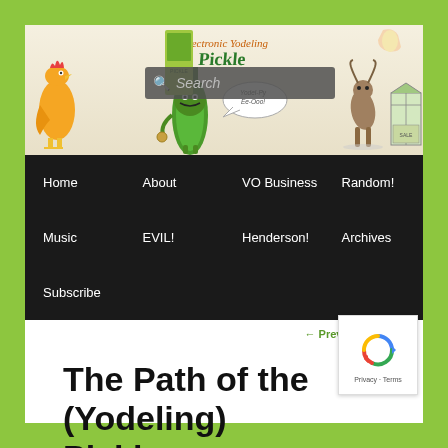[Figure (screenshot): Website header banner featuring toy products including a rubber chicken, Electronic Yodeling Pickle character, and other novelty items with a search bar overlay]
[Figure (infographic): Black navigation bar with menu items: Home, About, VO Business, Random!, Music, EVIL!, Henderson!, Archives, Subscribe]
← Previous   Next →
The Path of the (Yodeling) Pickle